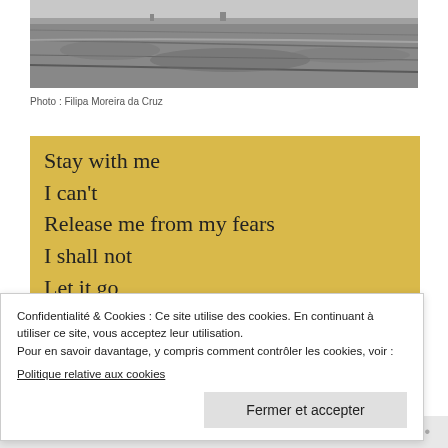[Figure (photo): Black and white landscape photograph showing a barren, rocky terrain or dry field.]
Photo : Filipa Moreira da Cruz
Stay with me
I can't
Release me from my fears
I shall not
Let it go
I must n't
Confidentialité & Cookies : Ce site utilise des cookies. En continuant à utiliser ce site, vous acceptez leur utilisation.
Pour en savoir davantage, y compris comment contrôler les cookies, voir :
Politique relative aux cookies
Fermer et accepter
Suivre